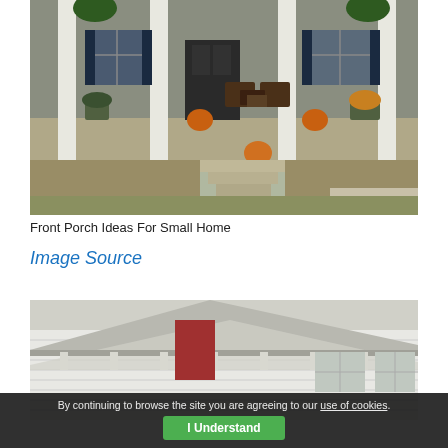[Figure (photo): Front porch of a suburban home with white columns, hanging plants, pumpkins on the steps, potted mums, and wicker furniture. Steps lead down to a grass lawn with fallen leaves.]
Front Porch Ideas For Small Home
Image Source
[Figure (photo): Close-up view of a white house exterior showing roofline, gutters, clapboard siding, and windows with a glimpse of a red door.]
By continuing to browse the site you are agreeing to our use of cookies.
I Understand